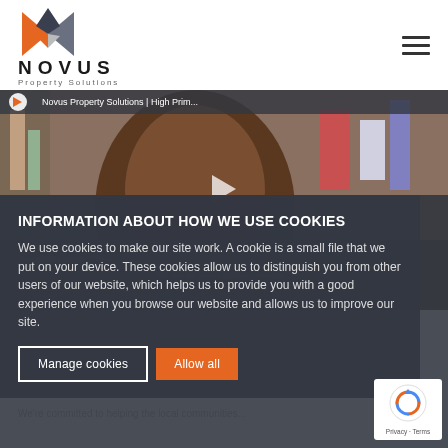[Figure (logo): Novus Property Solutions logo with orange and grey M-shaped icon]
[Figure (screenshot): Screenshot of Novus Property Solutions website showing a video thumbnail of Davina Mathurin with cookie consent overlay]
INFORMATION ABOUT HOW WE USE COOKIES
We use cookies to make our site work. A cookie is a small file that we put on your device. These cookies allow us to distinguish you from other users of our website, which helps us to provide you with a good experience when you browse our website and allows us to improve our site.
Manage cookies
Allow all